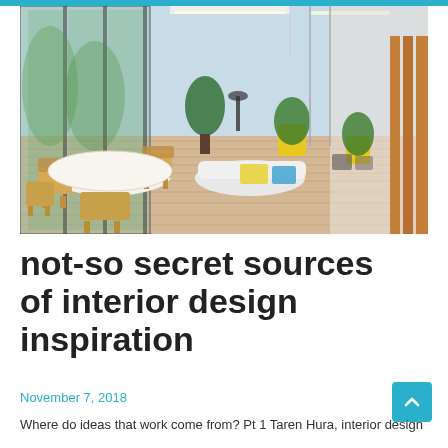[Figure (photo): Modern open-plan office interior with large floor-to-ceiling windows, wooden flooring, round white dining table with wooden chairs in foreground, colorful seating areas and planters in background, bright and airy space with high ceilings.]
not-so secret sources of interior design inspiration
November 7, 2018
Where do ideas that work come from? Pt 1 Taren Hura, interior design